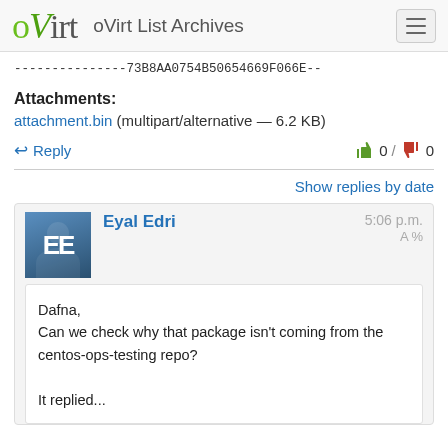oVirt  oVirt List Archives
---------------73B8AA0754B50654669F066E--
Attachments:
attachment.bin (multipart/alternative — 6.2 KB)
Reply   0 / 0
Show replies by date
Eyal Edri   5:06 p.m.
Dafna,
Can we check why that package isn't coming from the centos-ops-testing repo?

It replied...